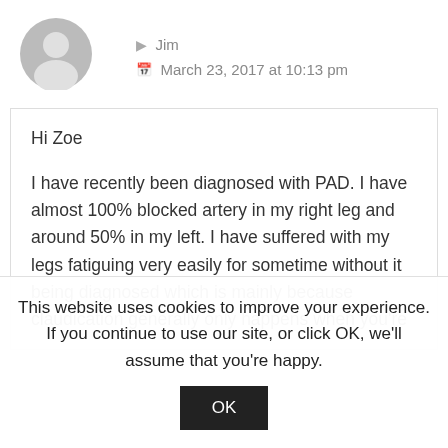[Figure (illustration): Generic grey user avatar icon - silhouette of a person in a circle]
Jim
March 23, 2017 at 10:13 pm
Hi Zoe

I have recently been diagnosed with PAD. I have almost 100% blocked artery in my right leg and around 50% in my left. I have suffered with my legs fatiguing very easily for sometime without it being diagnosed which is mainly because claudication generally only happens when you're
This website uses cookies to improve your experience. If you continue to use our site, or click OK, we'll assume that you're happy.